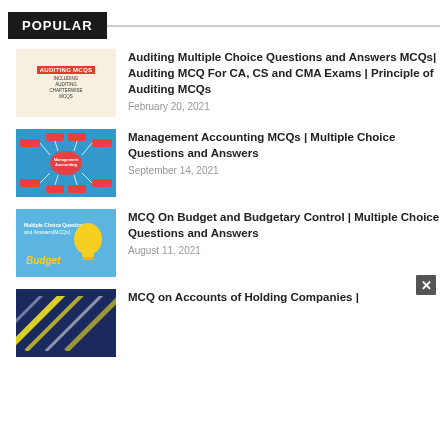POPULAR
[Figure (illustration): Auditing MCQs thumbnail - light yellow/cream background with red banner text 'AUDITING MCQS' and small cartoon figure]
Auditing Multiple Choice Questions and Answers MCQs| Auditing MCQ For CA, CS and CMA Exams | Principle of Auditing MCQs
February 20, 2021
[Figure (illustration): Management Accounting MCQs thumbnail - blue background with mind-map diagram showing Management Accounting in center with red node connections]
Management Accounting MCQs | Multiple Choice Questions and Answers
September 14, 2021
[Figure (illustration): Budget MCQ thumbnail - blue background with yellow lightbulb and 'Budget' text in yellow]
MCQ On Budget and Budgetary Control | Multiple Choice Questions and Answers
August 11, 2021
[Figure (illustration): Holding Companies thumbnail - dark navy blue background with diagonal yellow and white stripes]
MCQ on Accounts of Holding Companies |